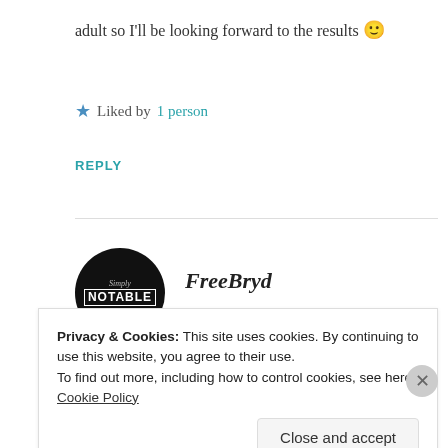adult so I'll be looking forward to the results 🙂
★ Liked by 1 person
REPLY
[Figure (logo): Simply Notable circular black logo with decorative text]
FreeBryd
SEPTEMBER 6, 2015 AT 3:43 PM
So true!! I have had similar experiences,
Privacy & Cookies: This site uses cookies. By continuing to use this website, you agree to their use. To find out more, including how to control cookies, see here: Cookie Policy
Close and accept